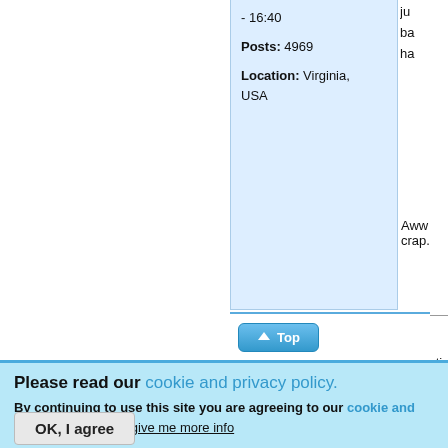- 16:40
Posts: 4969
Location: Virginia, USA
Aww crap.
Still fine, sti
you folks! p list of my dr WIP stuff, e
[Figure (screenshot): Top button with upward arrow icon]
Please read our cookie and privacy policy.
By continuing to use this site you are agreeing to our cookie and privacy policy. No, give me more info
OK, I agree